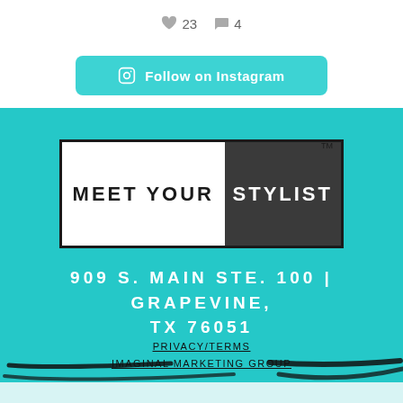♥ 23  💬 4
Follow on Instagram
[Figure (logo): Meet Your Stylist logo — left half white with black text 'MEET YOUR', right half dark gray with white text 'STYLIST', with TM mark]
909 S. MAIN STE. 100 | GRAPEVINE, TX 76051
PRIVACY/TERMS
IMAGINAL MARKETING GROUP